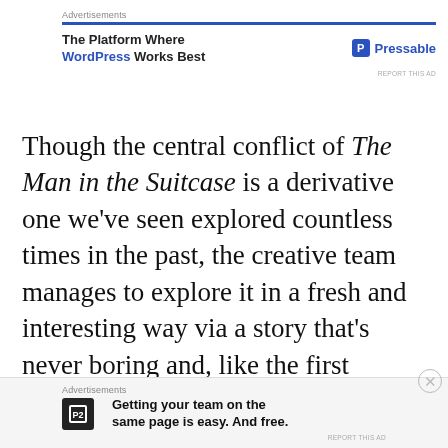Advertisements
[Figure (other): Pressable advertisement banner: 'The Platform Where WordPress Works Best' with Pressable logo]
Though the central conflict of The Man in the Suitcase is a derivative one we've seen explored countless times in the past, the creative team manages to explore it in a fresh and interesting way via a story that's never boring and, like the first segment, ends on a deliciously cathartic note.
Advertisements — Getting your team on the same page is easy. And free.